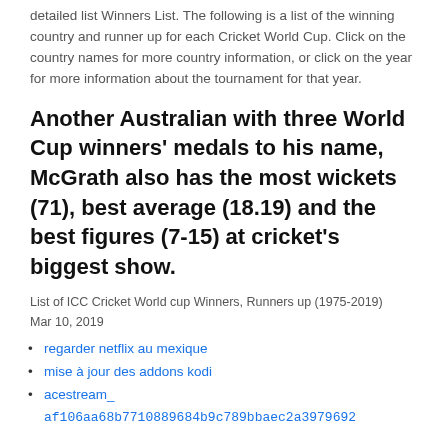detailed list Winners List. The following is a list of the winning country and runner up for each Cricket World Cup. Click on the country names for more country information, or click on the year for more information about the tournament for that year.
Another Australian with three World Cup winners' medals to his name, McGrath also has the most wickets (71), best average (18.19) and the best figures (7-15) at cricket's biggest show.
List of ICC Cricket World cup Winners, Runners up (1975-2019)
Mar 10, 2019
regarder netflix au mexique
mise à jour des addons kodi
acestream_
af106aa68b7710889684b9c789bbaec2a3979692